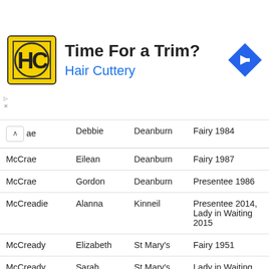[Figure (other): Hair Cuttery advertisement banner with logo (HC in yellow square), text 'Time For a Trim?' and 'Hair Cuttery' in blue, and a blue navigation arrow icon on the right.]
|  | Debbie | Deanburn | Fairy 1984 |
| --- | --- | --- | --- |
| McCrae | Eilean | Deanburn | Fairy 1987 |
| McCrae | Gordon | Deanburn | Presentee 1986 |
| McCreadie | Alanna | Kinneil | Presentee 2014, Lady in Waiting 2015 |
| McCready | Elizabeth | St Mary's | Fairy 1951 |
| McCready | Sarah | St Mary's | Lady in Waiting 1958 |
| McCrimmon | Margaret | Academy | Chief Lady in Waiting 1938 |